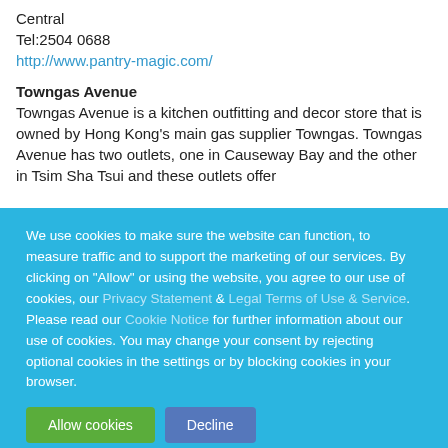Central
Tel:2504 0688
http://www.pantry-magic.com/
Towngas Avenue
Towngas Avenue is a kitchen outfitting and decor store that is owned by Hong Kong's main gas supplier Towngas. Towngas Avenue has two outlets, one in Causeway Bay and the other in Tsim Sha Tsui and these outlets offer
We use cookies to make sure the website can function, to measure traffic and to support the marketing of our services. By clicking on "Allow" or using the website, you agree to our use of cookies, our Privacy Statement & Legal Terms of Use & Service. Please read our Cookie Notice for further information about our use of cookies. You may change your consent by rejecting optional cookies in the settings or by blocking cookies in your browser.
Allow cookies
Decline